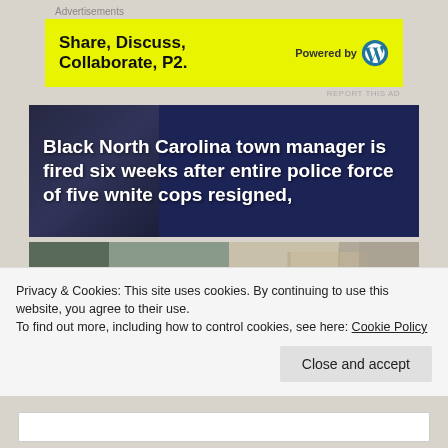Advertisements
[Figure (infographic): Yellow advertisement banner: Share, Discuss, Collaborate, P2. Powered by WordPress logo]
REPORT THIS AD
[Figure (photo): News article image with dark navy background and headline: Black North Carolina town manager is fired six weeks after entire police force of five wnite cops resigned,]
[Figure (photo): Partial photo of a car in front of a building with stairs]
Privacy & Cookies: This site uses cookies. By continuing to use this website, you agree to their use.
To find out more, including how to control cookies, see here: Cookie Policy
Close and accept